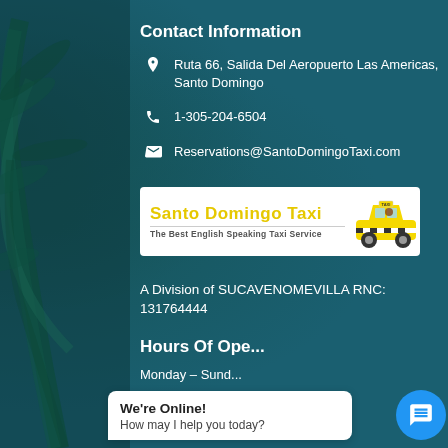Contact Information
Ruta 66, Salida Del Aeropuerto Las Americas, Santo Domingo
1-305-204-6504
Reservations@SantoDomingoTaxi.com
[Figure (logo): Santo Domingo Taxi logo with yellow taxi car illustration. Text reads 'Santo Domingo Taxi' in yellow bold font, with tagline 'The Best English Speaking Taxi Service']
A Division of SUCAVENOMEVILLA RNC: 131764444
Hours Of Ope...
Monday – Sund...
We're Online! How may I help you today?